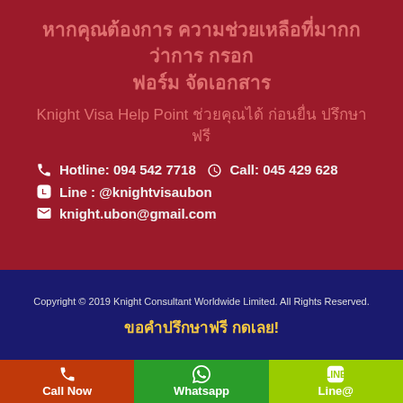หากคุณต้องการ ความช่วยเหลือที่มากกว่าการ กรอกฟอร์ม จัดเอกสาร
Knight Visa Help Point ช่วยคุณได้ ก่อนยื่น ปรึกษาฟรี
Hotline: 094 542 7718    Call: 045 429 628
Line : @knightvisaubon
knight.ubon@gmail.com
Copyright © 2019 Knight Consultant Worldwide Limited. All Rights Reserved.
ขอคำปรึกษาฟรี กดเลย!
Call Now
Whatsapp
Line@